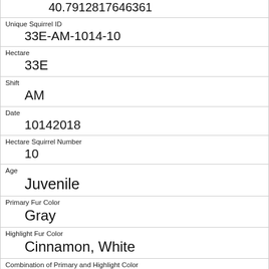| 40.7912817646361 |
| Unique Squirrel ID | 33E-AM-1014-10 |
| Hectare | 33E |
| Shift | AM |
| Date | 10142018 |
| Hectare Squirrel Number | 10 |
| Age | Juvenile |
| Primary Fur Color | Gray |
| Highlight Fur Color | Cinnamon, White |
| Combination of Primary and Highlight Color | Gray+Cinnamon, White |
| Color notes |  |